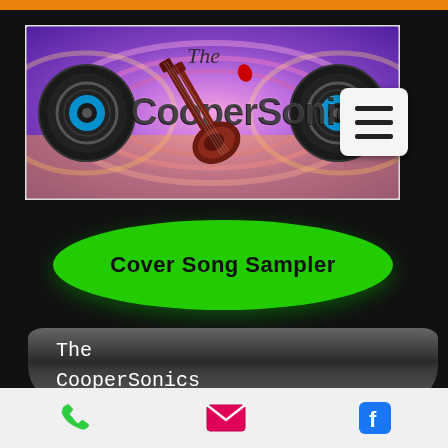[Figure (screenshot): Orange top bar of a mobile website]
[Figure (illustration): The CooperSonics band logo banner with psychedelic purple/orange background, two speaker graphics, and a double-neck guitar. Text reads 'The CooperSonics'.]
[Figure (illustration): Hamburger menu button (three horizontal lines) in white box]
Cover Song Sampler
The CooperSonics
[Figure (illustration): Footer bar with phone icon (green), email icon (pink), and Facebook icon (blue)]